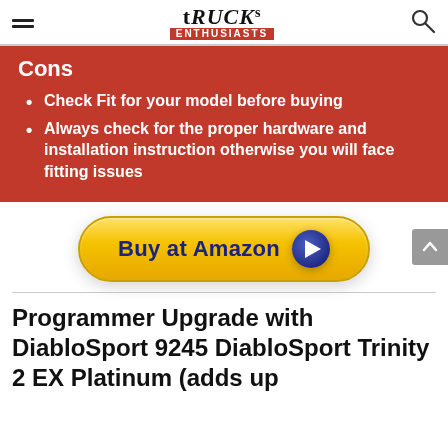TRUCKs ENTHUSIASTS
Cons
Check Fit for your model before buying
Always check for the proper hardware and installation instruction otherwise you will face fitting issues
[Figure (other): Buy at Amazon yellow button with play icon]
Programmer Upgrade with DiabloSport 9245 DiabloSport Trinity 2 EX Platinum (adds up